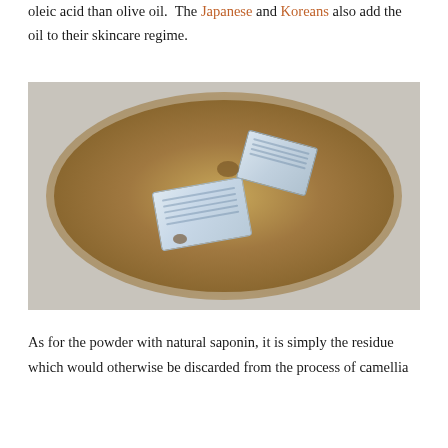oleic acid than olive oil. The Japanese and Koreans also add the oil to their skincare regime.
[Figure (photo): Overhead view of a round clear plastic container filled with brown powdery substance (camellia residue/saponin powder), with two small desiccant packets resting on top of the powder.]
As for the powder with natural saponin, it is simply the residue which would otherwise be discarded from the process of camellia